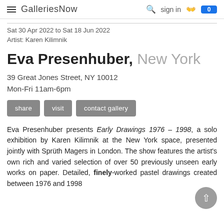GalleriesNow  sign in  0
Sat 30 Apr 2022 to Sat 18 Jun 2022
Artist: Karen Kilimnik
Eva Presenhuber, New York
39 Great Jones Street, NY 10012
Mon-Fri 11am-6pm
share  visit  contact gallery
Eva Presenhuber presents Early Drawings 1976 – 1998, a solo exhibition by Karen Kilimnik at the New York space, presented jointly with Sprüth Magers in London. The show features the artist's own rich and varied selection of over 50 previously unseen early works on paper. Detailed, finely-worked pastel drawings created between 1976 and 1998